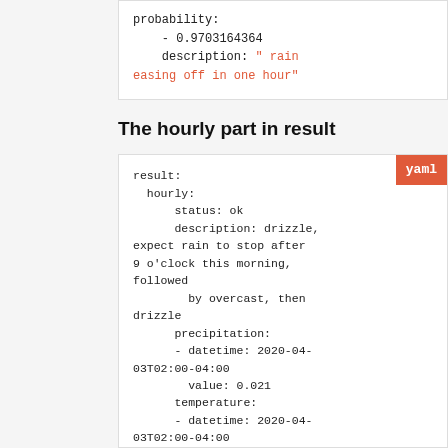probability:
    - 0.9703164364
    description: " rain easing off in one hour"
The hourly part in result
result:
  hourly:
      status: ok
      description: drizzle, expect rain to stop after 9 o'clock this morning, followed
        by overcast, then drizzle
      precipitation:
      - datetime: 2020-04-03T02:00-04:00
        value: 0.021
      temperature:
      - datetime: 2020-04-03T02:00-04:00